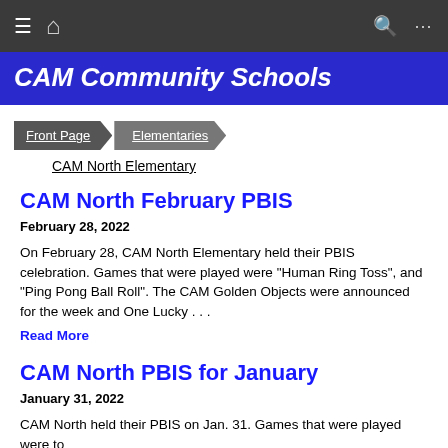≡ 🏠 🔍 …
CAM Community Schools
Front Page   Elementaries
CAM North Elementary
CAM North February PBIS
February 28, 2022
On February 28, CAM North Elementary held their PBIS celebration. Games that were played were "Human Ring Toss", and "Ping Pong Ball Roll".  The CAM Golden Objects were announced for the week and One Lucky . . .
Read More
CAM North PBIS for January
January 31, 2022
CAM North held their PBIS on Jan. 31.  Games that were played were to